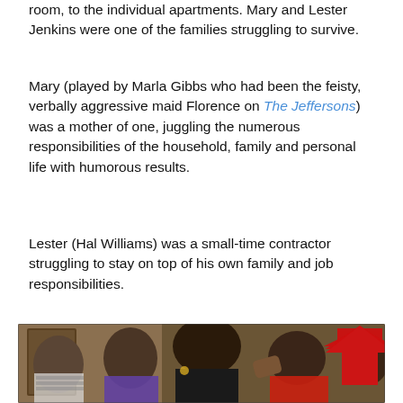room, to the individual apartments. Mary and Lester Jenkins were one of the families struggling to survive.
Mary (played by Marla Gibbs who had been the feisty, verbally aggressive maid Florence on The Jeffersons) was a mother of one, juggling the numerous responsibilities of the household, family and personal life with humorous results.
Lester (Hal Williams) was a small-time contractor struggling to stay on top of his own family and job responsibilities.
[Figure (photo): A scene from a TV show featuring several African-American women in what appears to be an apartment or common room setting. One woman in the center wearing black has large hoop earrings. Another woman to the right in a red top has a large red upward-pointing arrow overlaid on the upper right of the image.]